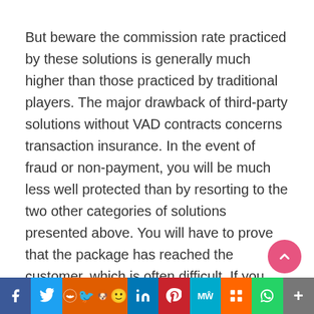But beware the commission rate practiced by these solutions is generally much higher than those practiced by traditional players. The major drawback of third-party solutions without VAD contracts concerns transaction insurance. In the event of fraud or non-payment, you will be much less well protected than by resorting to the two other categories of solutions presented above. You will have to prove that the package has reached the customer, which is often difficult. If you sell high-value products, this is a significant risk to take into account.
[Figure (other): Social media sharing bar with icons: Facebook, Twitter, Reddit, LinkedIn, Pinterest, MeWe, Mix, WhatsApp, More]